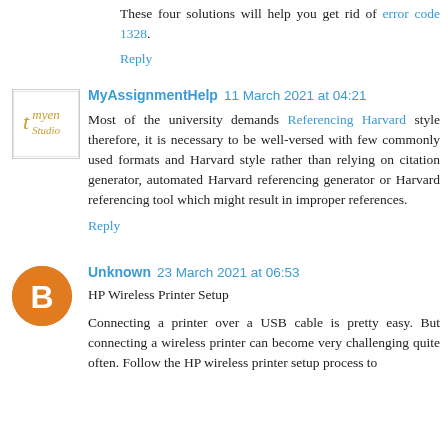These four solutions will help you get rid of error code 1328.
Reply
MyAssignmentHelp 11 March 2021 at 04:21
Most of the university demands Referencing Harvard style therefore, it is necessary to be well-versed with few commonly used formats and Harvard style rather than relying on citation generator, automated Harvard referencing generator or Harvard referencing tool which might result in improper references.
Reply
Unknown 23 March 2021 at 06:53
HP Wireless Printer Setup
Connecting a printer over a USB cable is pretty easy. But connecting a wireless printer can become very challenging quite often. Follow the HP wireless printer setup process to